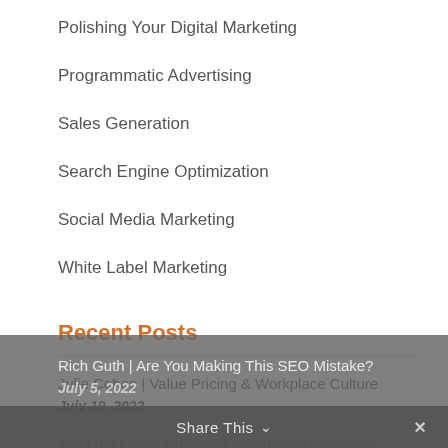Polishing Your Digital Marketing
Programmatic Advertising
Sales Generation
Search Engine Optimization
Social Media Marketing
White Label Marketing
Recent Posts
Julie Cohen | Value Pricing & Workplace Culture
July 19, 2022
Tim Luukkonen | Telling a Compelling Story with Marketing Data
July 12, 2022
Rich Guth | Are You Making This SEO Mistake?
July 5, 2022
Share This ×